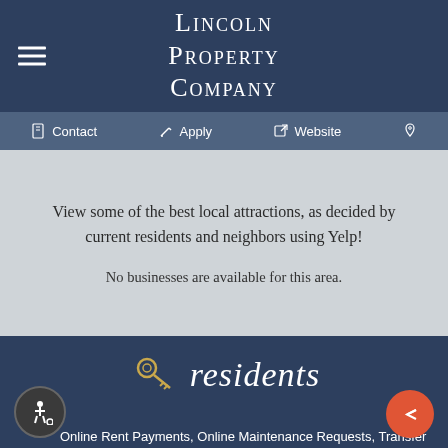Lincoln Property Company
Contact  Apply  Website
View some of the best local attractions, as decided by current residents and neighbors using Yelp!
No businesses are available for this area.
[Figure (logo): Keys icon with cursive 'residents' text]
Online Rent Payments, Online Maintenance Requests, Transfer